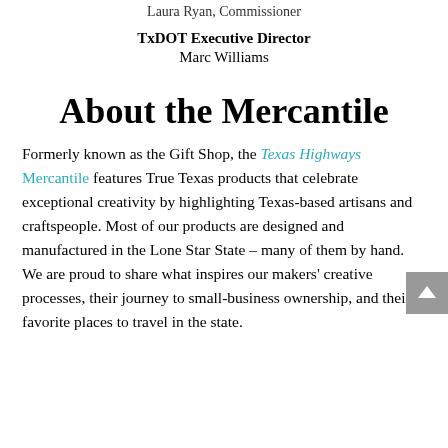Laura Ryan, Commissioner
TxDOT Executive Director
Marc Williams
About the Mercantile
Formerly known as the Gift Shop, the Texas Highways Mercantile features True Texas products that celebrate exceptional creativity by highlighting Texas-based artisans and craftspeople. Most of our products are designed and manufactured in the Lone Star State – many of them by hand. We are proud to share what inspires our makers' creative processes, their journey to small-business ownership, and their favorite places to travel in the state.